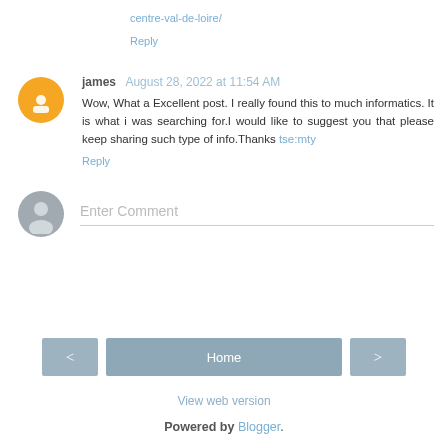centre-val-de-loire/
Reply
james August 28, 2022 at 11:54 AM
Wow, What a Excellent post. I really found this to much informatics. It is what i was searching for.I would like to suggest you that please keep sharing such type of info.Thanks tse:mty
Reply
Enter Comment
Home
View web version
Powered by Blogger.